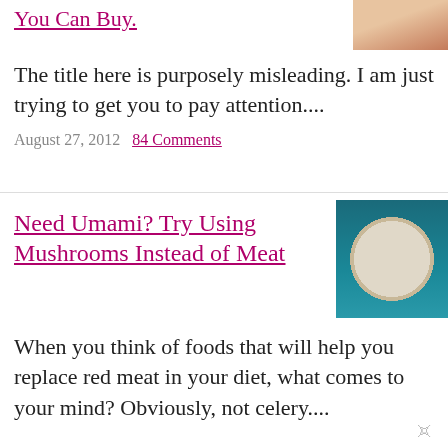You Can Buy.
[Figure (photo): Partial view of a food photo, top right corner, warm tones]
The title here is purposely misleading. I am just trying to get you to pay attention....
August 27, 2012  84 Comments
Need Umami? Try Using Mushrooms Instead of Meat
[Figure (photo): Overhead view of a blue plate with mushroom dish topped with red garnish]
When you think of foods that will help you replace red meat in your diet, what comes to your mind? Obviously, not celery....